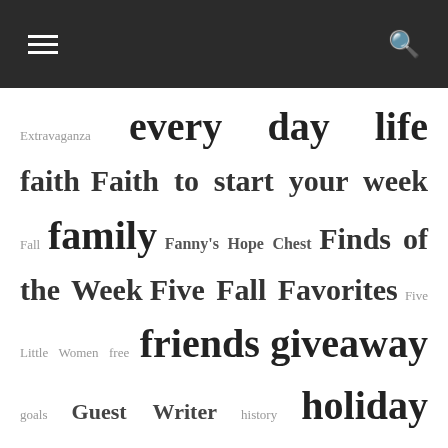≡  🔍
Extravaganza every day life faith Faith to start your week Fall family Fanny's Hope Chest Finds of the Week Five Fall Favorites Five Little Women free friends giveaway goals Guest Writer history holiday Holman Writing Adventure homemaking homeschool authors homeschooling interview Kate's Case Files Keys to Saving Laughter in Our House launch teams learning links Maple Leaf Christian Retreat Center Chronicles March of Books March of Princesses Meditations of His Love Misc. Month of Savings Multitudes More…